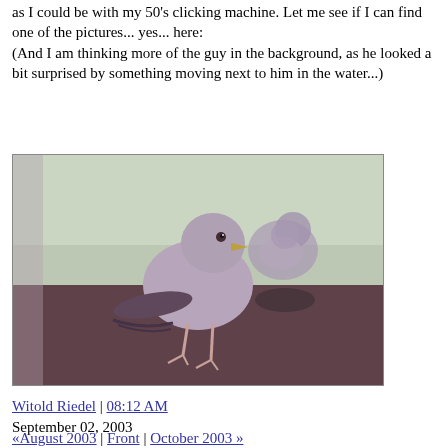as I could be with my 50's clicking machine. Let me see if I can find one of the pictures... yes... here:
(And I am thinking more of the guy in the background, as he looked a bit surprised by something moving next to him in the water...)
[Figure (photo): A seagull standing on a surface in the foreground, with another seagull blurred in the background. The photo has a purplish/dusky tone.]
Witold Riedel | 08:12 AM
September 02, 2003
«August 2003 | Front | October 2003 »